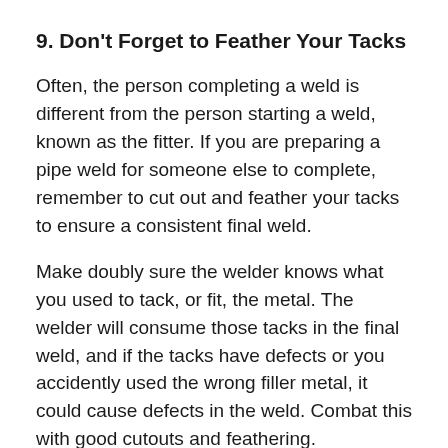9. Don't Forget to Feather Your Tacks
Often, the person completing a weld is different from the person starting a weld, known as the fitter. If you are preparing a pipe weld for someone else to complete, remember to cut out and feather your tacks to ensure a consistent final weld.
Make doubly sure the welder knows what you used to tack, or fit, the metal. The welder will consume those tacks in the final weld, and if the tacks have defects or you accidently used the wrong filler metal, it could cause defects in the weld. Combat this with good cutouts and feathering.
10. Do Work Around the Clock...